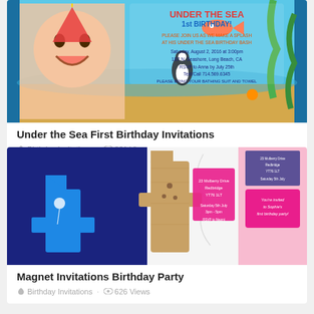[Figure (photo): Under the Sea First Birthday party invitation featuring a smiling baby boy, ocean-themed characters, fish, penguin, starfish, and colorful text on a blue background.]
Under the Sea First Birthday Invitations
Birthday Invitations · 831 Views
[Figure (photo): Magnet Invitations for a Birthday Party showing wooden number 1 shaped invitations, blue denim background, pink birthday party invitation card, and marble background.]
Magnet Invitations Birthday Party
Birthday Invitations · 626 Views